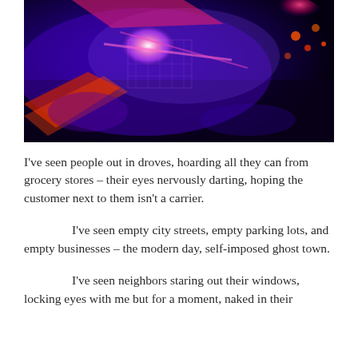[Figure (photo): A dark, neon-colored abstract photo with purple, pink, red, and orange tones, appearing to show some kind of object or scene lit under ultraviolet/blacklight conditions against a dark background.]
I've seen people out in droves, hoarding all they can from grocery stores – their eyes nervously darting, hoping the customer next to them isn't a carrier.
I've seen empty city streets, empty parking lots, and empty businesses – the modern day, self-imposed ghost town.
I've seen neighbors staring out their windows, locking eyes with me but for a moment, naked in their